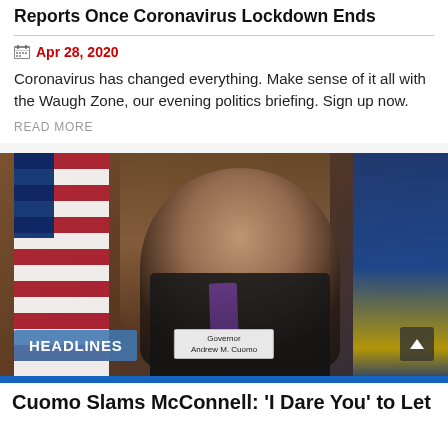Reports Once Coronavirus Lockdown Ends
Apr 28, 2020
Coronavirus has changed everything. Make sense of it all with the Waugh Zone, our evening politics briefing. Sign up now.
READ MORE
[Figure (photo): Governor Andrew M. Cuomo speaking at a press conference, with US flag on left and New York state flag on right. A nameplate reads 'Governor Andrew M. Cuomo'. A blue 'HEADLINES' badge overlays the bottom left.]
Cuomo Slams McConnell: 'I Dare You' to Let